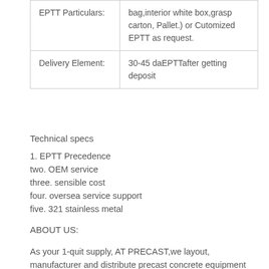|  |  |
| --- | --- |
| EPTT Particulars: | bag,interior white box,grasp carton, Pallet.) or Cutomized EPTT as request. |
| Delivery Element: | 30-45 daEPTTafter getting deposit |
Technical specs
1. EPTT Precedence
two. OEM service
three. sensible cost
four. oversea service support
five. 321 stainless metal
ABOUT US:
As your 1-quit supply, AT PRECAST,we layout, manufacturer and distribute precast concrete equipment incXiHu (West EPT) Dis.Hu (West EPT) Dis.